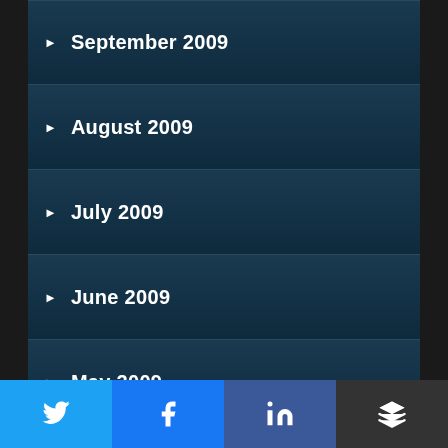September 2009
August 2009
July 2009
June 2009
May 2009
April 2009
March 2009
February 2009
January 2009
December 2008
[Figure (infographic): Social sharing buttons row: Twitter, Facebook, LinkedIn, Layers/Buffer icons]